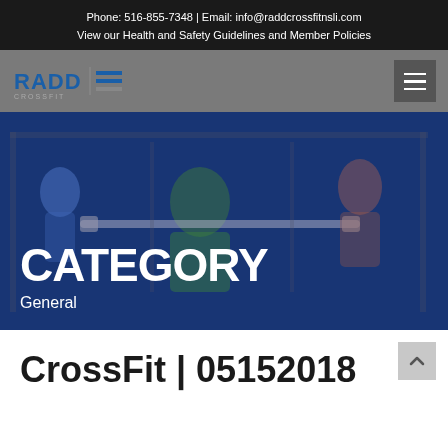Phone: 516-855-7348 | Email: info@raddcrossfitnsli.com
View our Health and Safety Guidelines and Member Policies
[Figure (logo): RADD CrossFit logo with bold RADD text and horizontal lines symbol]
CATEGORY
General
CrossFit | 05152018